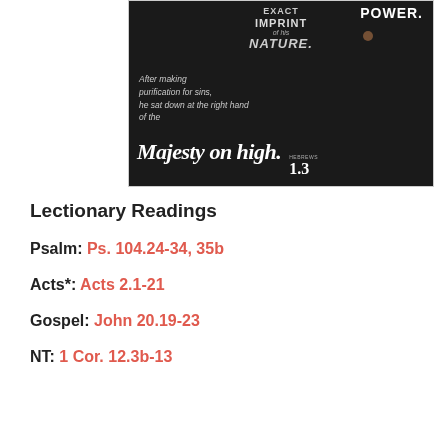[Figure (illustration): Dark background image showing two hands with text overlay quoting Hebrews 1:3 — 'After making purification for sins, he sat down at the right hand of the Majesty on high.' Also shows text 'EXACT IMPRINT of his NATURE.' and 'POWER.' in upper portion.]
Lectionary Readings
Psalm: Ps. 104.24-34, 35b
Acts*: Acts 2.1-21
Gospel: John 20.19-23
NT: 1 Cor. 12.3b-13